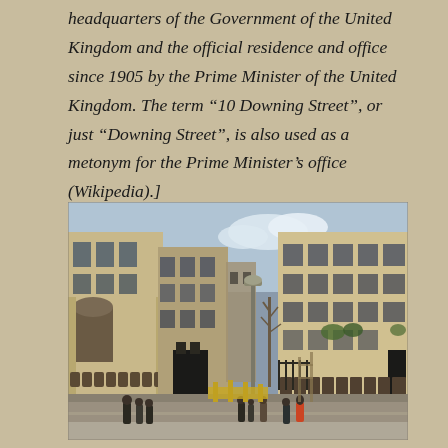headquarters of the Government of the United Kingdom and the official residence and office since 1905 by the Prime Minister of the United Kingdom. The term “10 Downing Street”, or just “Downing Street”, is also used as a metonym for the Prime Minister’s office (Wikipedia).]
[Figure (photo): Street-level photograph of Downing Street area in London, showing grand stone government buildings on both sides of the street, with pedestrians walking along the road and a lamppost visible on the left side.]